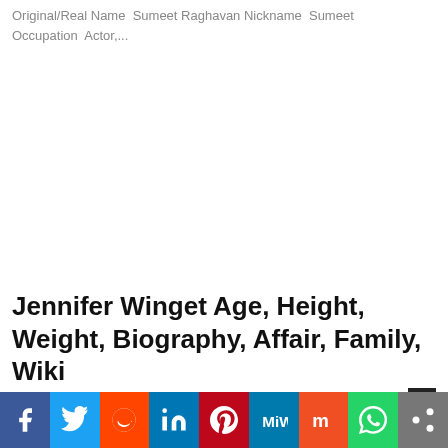Original/Real Name  Sumeet Raghavan Nickname  Sumeet Occupation  Actor,...
Jennifer Winget Age, Height, Weight, Biography, Affair, Family, Wiki
iBolly News  –  March 19, 2018    0
In this article, you will find all the Biodata about Jennifer Winget. Don't forget to share this article with your friends Biography & Wiki